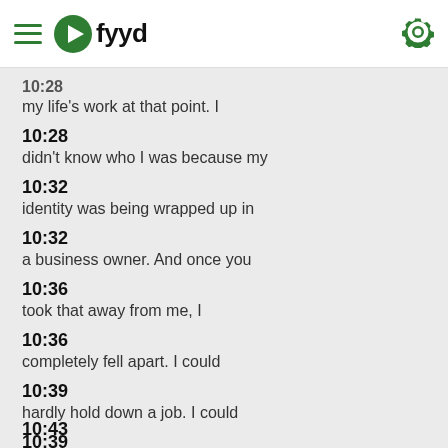[Figure (screenshot): fyyd podcast app header with hamburger menu, green arrow logo, 'fyyd' text, and gear icon]
10:28
my life's work at that point. I
10:28
didn't know who I was because my
10:32
identity was being wrapped up in
10:32
a business owner. And once you
10:36
took that away from me, I
10:36
completely fell apart. I could
10:39
hardly hold down a job. I could
10:39
go and get a, get a job as a
10:43